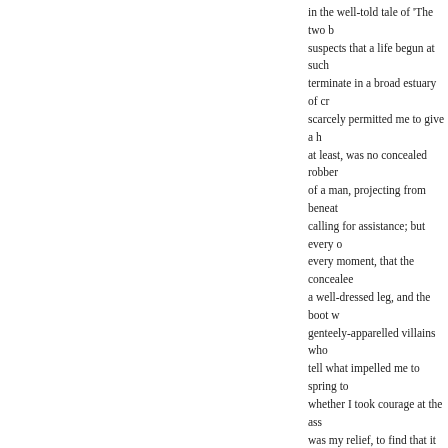in the well-told tale of 'The two b suspects that a life begun at such terminate in a broad estuary of c scarcely permitted me to give a b at least, was no concealed robbe of a man, projecting from beneat calling for assistance; but every every moment, that the conceale a well-dressed leg, and the boot genteely-apparelled villains who tell what impelled me to spring t whether I took courage at the ass was my relief, to find that it was leg of an absent lodger, an office which he left alike
b
I went to bed, but only to dream
the one in 'Vathek,' where the sh conjurer.
We are reluctant to admit into scene which may have been pro